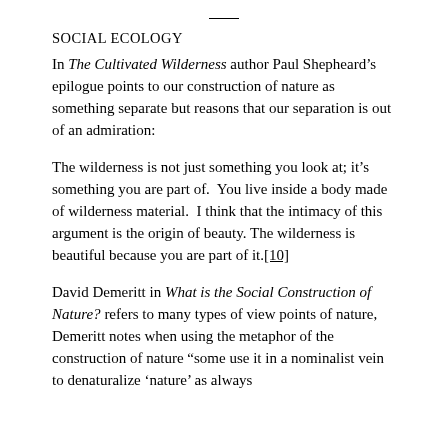SOCIAL ECOLOGY
In The Cultivated Wilderness author Paul Shepheard’s epilogue points to our construction of nature as something separate but reasons that our separation is out of an admiration:
The wilderness is not just something you look at; it’s something you are part of.  You live inside a body made of wilderness material.  I think that the intimacy of this argument is the origin of beauty.  The wilderness is beautiful because you are part of it.[10]
David Demeritt in What is the Social Construction of Nature? refers to many types of view points of nature, Demeritt notes when using the metaphor of the construction of nature “some use it in a nominalist vein to denaturalize ‘nature’ as always